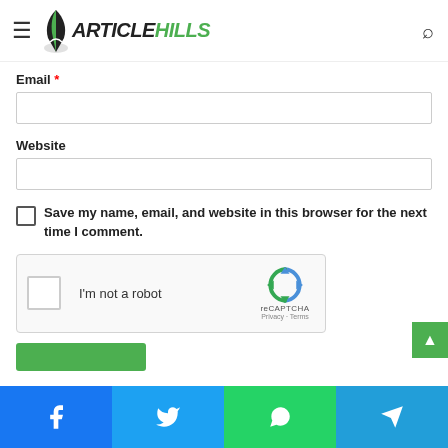ArticleHills — navigation header with hamburger menu and search icon
Email *
[Figure (other): Empty email text input field]
Website
[Figure (other): Empty website text input field]
Save my name, email, and website in this browser for the next time I comment.
[Figure (other): reCAPTCHA widget — I'm not a robot checkbox with Google reCAPTCHA branding, Privacy and Terms links]
[Figure (other): Submit / Post Comment button (green)]
Social share bar: Facebook, Twitter, WhatsApp, Telegram